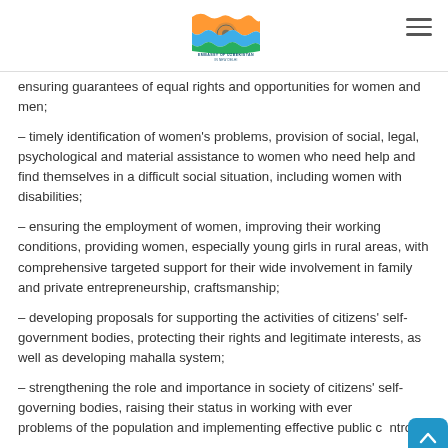EMBASSY OF UZBEKISTAN IN NEW DELHI
ensuring guarantees of equal rights and opportunities for women and men;
– timely identification of women's problems, provision of social, legal, psychological and material assistance to women who need help and find themselves in a difficult social situation, including women with disabilities;
– ensuring the employment of women, improving their working conditions, providing women, especially young girls in rural areas, with comprehensive targeted support for their wide involvement in family and private entrepreneurship, craftsmanship;
– developing proposals for supporting the activities of citizens' self-government bodies, protecting their rights and legitimate interests, as well as developing mahalla system;
– strengthening the role and importance in society of citizens' self-governing bodies, raising their status in working with everyday problems of the population and implementing effective public control;